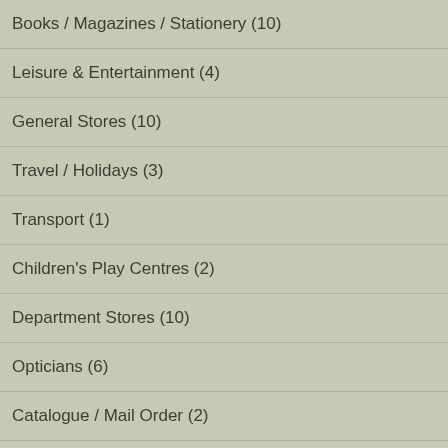Books / Magazines / Stationery (10)
Leisure & Entertainment (4)
General Stores (10)
Travel / Holidays (3)
Transport (1)
Children's Play Centres (2)
Department Stores (10)
Opticians (6)
Catalogue / Mail Order (2)
Museums / Galleries (9)